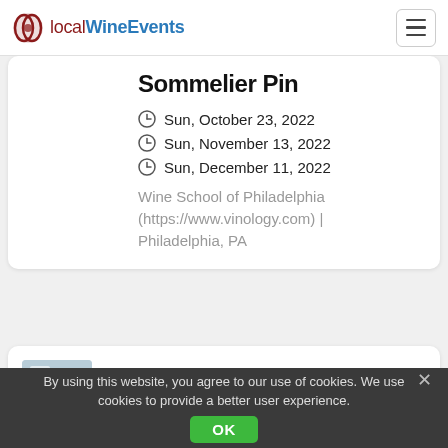localWineEvents
Sommelier Pin
Sun, October 23, 2022
Sun, November 13, 2022
Sun, December 11, 2022
Wine School of Philadelphia (https://www.vinology.com) | Philadelphia, PA
WSET Level 2 Award In
By using this website, you agree to our use of cookies. We use cookies to provide a better user experience.